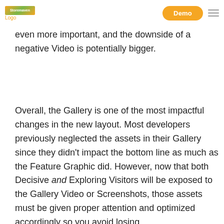Storemaven Logo | Demo
new design, which is interesting to monitor further. The implications of this are your Video becomes even more important, and the downside of a negative Video is potentially bigger.
Overall, the Gallery is one of the most impactful changes in the new layout. Most developers previously neglected the assets in their Gallery since they didn't impact the bottom line as much as the Feature Graphic did. However, now that both Decisive and Exploring Visitors will be exposed to the Gallery Video or Screenshots, those assets must be given proper attention and optimized accordingly so you avoid losing